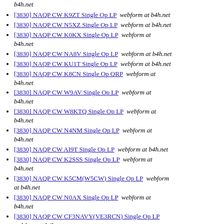b4h.net
[3830] NAQP CW K9ZT Single Op LP  webform at b4h.net
[3830] NAQP CW N5XZ Single Op LP  webform at b4h.net
[3830] NAQP CW K0KX Single Op LP  webform at b4h.net
[3830] NAQP CW NA8V Single Op LP  webform at b4h.net
[3830] NAQP CW KU1T Single Op LP  webform at b4h.net
[3830] NAQP CW K8CN Single Op QRP  webform at b4h.net
[3830] NAQP CW W9AV Single Op LP  webform at b4h.net
[3830] NAQP CW W8KTQ Single Op LP  webform at b4h.net
[3830] NAQP CW N4NM Single Op LP  webform at b4h.net
[3830] NAQP CW AI9T Single Op LP  webform at b4h.net
[3830] NAQP CW K2SSS Single Op LP  webform at b4h.net
[3830] NAQP CW K5CM(W5CW) Single Op LP  webform at b4h.net
[3830] NAQP CW N0AX Single Op LP  webform at b4h.net
[3830] NAQP CW CF3NAVY(VE3RCN) Single Op LP  webform at b4h.net
[3830] NAQP CW W6RGG Single Op LP  webform at